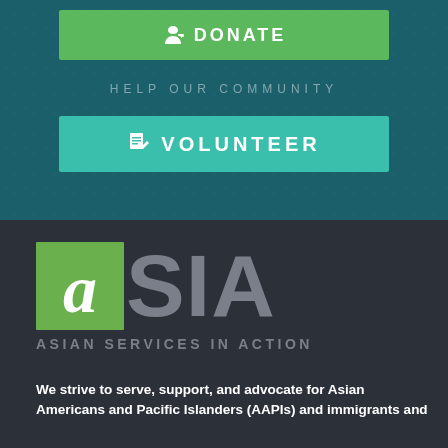DONATE
HELP OUR COMMUNITY
VOLUNTEER
[Figure (logo): Asian Services In Action (ASIA) logo — green square with white italic 'a', followed by grey 'SIA' text, subtitle 'ASIAN SERVICES IN ACTION']
We strive to serve, support, and advocate for Asian Americans and Pacific Islanders (AAPIs) and immigrants and refugees in Greater Cleveland and Northeast Ohio.